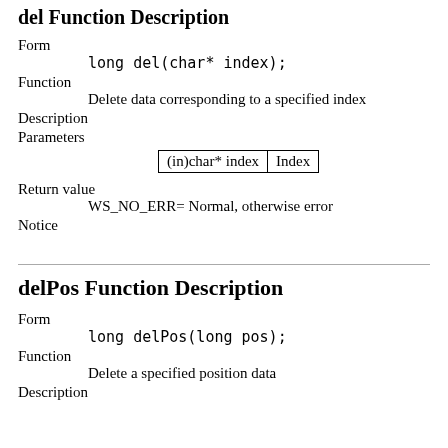del Function Description
Form
        long del(char* index);
Function
        Delete data corresponding to a specified index
Description
Parameters
| (in)char* index | Index |
| --- | --- |
Return value
        WS_NO_ERR= Normal, otherwise error
Notice
delPos Function Description
Form
        long delPos(long pos);
Function
        Delete a specified position data
Description